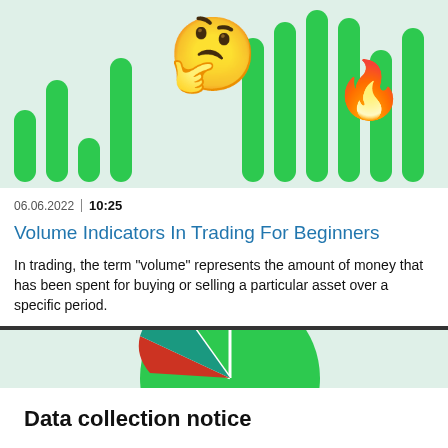[Figure (illustration): Green bar chart illustration with thinking face emoji and fire emoji on light green background]
06.06.2022 | 10:25
Volume Indicators In Trading For Beginners
In trading, the term "volume" represents the amount of money that has been spent for buying or selling a particular asset over a specific period.
[Figure (pie-chart): Partial pie/donut chart visible at top of lower section with green, teal, and red segments]
Data collection notice
FBS maintains a record of your data to run this website. By pressing the "Accept" button, you agree to our Privacy policy.